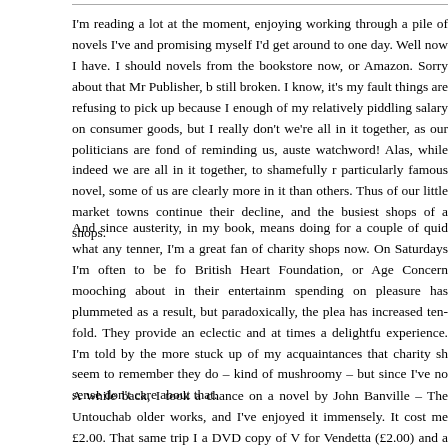I'm reading a lot at the moment, enjoying working through a pile of novels I've and promising myself I'd get around to one day. Well now I have. I should novels from the bookstore now, or Amazon. Sorry about that Mr Publisher, b still broken. I know, it's my fault things are refusing to pick up because I enough of my relatively piddling salary on consumer goods, but I really don't we're all in it together, as our politicians are fond of reminding us, auste watchword! Alas, while indeed we are all in it together, to shamefully r particularly famous novel, some of us are clearly more in it than others. Thus of our little market towns continue their decline, and the busiest shops of a shops.
And since austerity, in my book, means doing for a couple of quid what any tenner, I'm a great fan of charity shops now. On Saturdays I'm often to be fo British Heart Foundation, or Age Concern mooching about in their entertainm spending on pleasure has plummeted as a result, but paradoxically, the plea has increased ten-fold. They provide an eclectic and at times a delightfu experience. I'm told by the more stuck up of my acquaintances that charity sh seem to remember they do – kind of mushroomy – but since I've no sense don't care about that.
A while back, I took a chance on a novel by John Banville – The Untouchab older works, and I've enjoyed it immensely. It cost me £2.00. That same trip I a DVD copy of V for Vendetta (£2.00) and a Stevie Nicks' 1981 album, Bella That's a lot of bang for my bucks. Of course when you go into a charity shop i